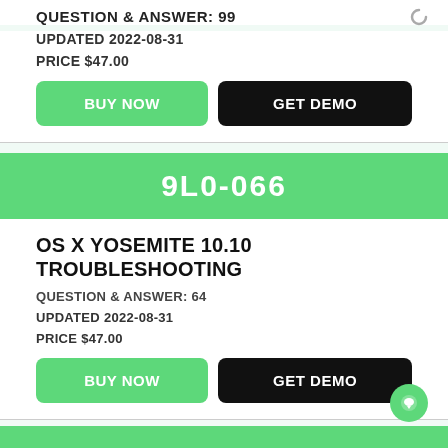QUESTION & ANSWER: 99
UPDATED 2022-08-31
PRICE $47.00
BUY NOW
GET DEMO
9L0-066
OS X YOSEMITE 10.10 TROUBLESHOOTING
QUESTION & ANSWER: 64
UPDATED 2022-08-31
PRICE $47.00
BUY NOW
GET DEMO